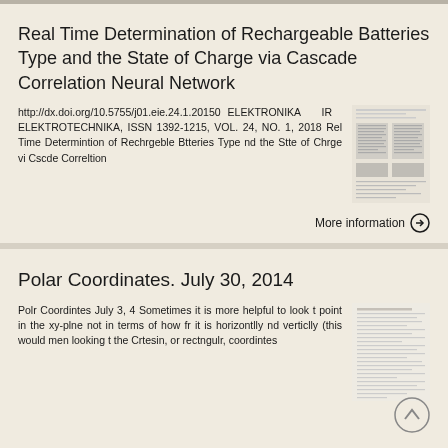Real Time Determination of Rechargeable Batteries Type and the State of Charge via Cascade Correlation Neural Network
http://dx.doi.org/10.5755/j01.eie.24.1.20150 ELEKTRONIKA IR ELEKTROTECHNIKA, ISSN 1392-1215, VOL. 24, NO. 1, 2018 Rel Time Determintion of Rechrgeble Btteries Type nd the Stte of Chrge vi Cscde Correltion
[Figure (screenshot): Thumbnail of the referenced journal article page]
Polar Coordinates. July 30, 2014
Polr Coordintes July 3, 4 Sometimes it is more helpful to look t point in the xy-plne not in terms of how fr it is horizontlly nd verticlly (this would men looking t the Crtesin, or rectngulr, coordintes
[Figure (screenshot): Thumbnail of the Polar Coordinates document page]